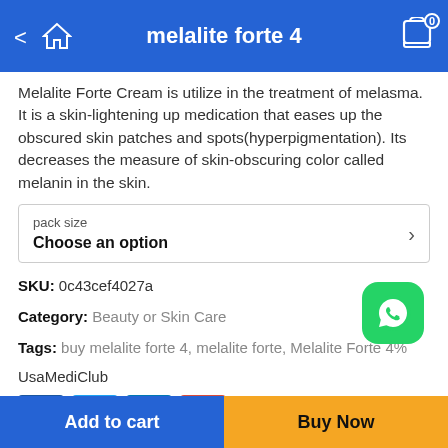melalite forte 4
Melalite Forte Cream is utilize in the treatment of melasma. It is a skin-lightening up medication that eases up the obscured skin patches and spots(hyperpigmentation). Its decreases the measure of skin-obscuring color called melanin in the skin.
pack size
Choose an option
SKU: 0c43cef4027a
Category: Beauty or Skin Care
Tags: buy melalite forte 4, melalite forte, Melalite Forte 4%
UsaMediClub
[Figure (other): Social share buttons: Facebook, Twitter, LinkedIn, Email]
Add to cart
Buy Now